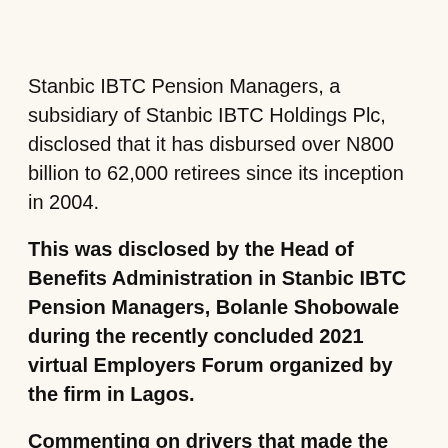Stanbic IBTC Pension Managers, a subsidiary of Stanbic IBTC Holdings Plc, disclosed that it has disbursed over N800 billion to 62,000 retirees since its inception in 2004.
This was disclosed by the Head of Benefits Administration in Stanbic IBTC Pension Managers, Bolanle Shobowale during the recently concluded 2021 virtual Employers Forum organized by the firm in Lagos.
Commenting on drivers that made the disbursement seamless and effective, Mrs Shobowale revealed that the firm (Stanbic Pensions) adopted technology nationwide in